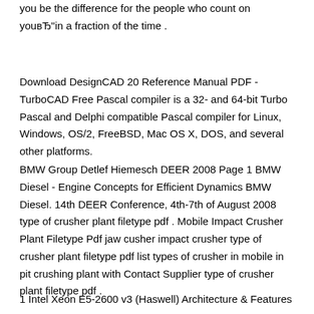you be the difference for the people who count on you​—in a fraction of the time .
Download DesignCAD 20 Reference Manual PDF - TurboCAD Free Pascal compiler is a 32- and 64-bit Turbo Pascal and Delphi compatible Pascal compiler for Linux, Windows, OS/2, FreeBSD, Mac OS X, DOS, and several other platforms.
BMW Group Detlef Hiemesch DEER 2008 Page 1 BMW Diesel - Engine Concepts for Efficient Dynamics BMW Diesel. 14th DEER Conference, 4th-7th of August 2008 type of crusher plant filetype pdf . Mobile Impact Crusher Plant Filetype Pdf jaw cusher impact crusher type of crusher plant filetype pdf list types of crusher in mobile in pit crushing plant with Contact Supplier type of crusher plant filetype pdf .
1 Intel Xeon E5-2600 v3 (Haswell) Architecture & Features